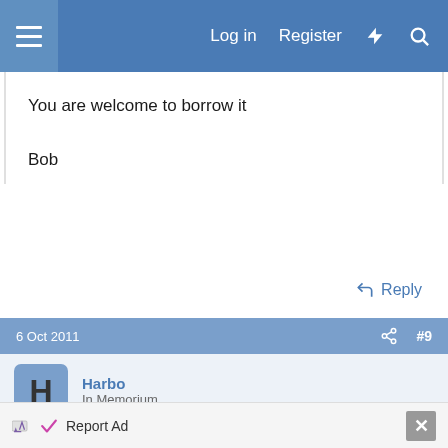Log in  Register
You are welcome to borrow it

Bob
Reply
6 Oct 2011   #9
Harbo
In Memorium
I had a look at their website and could not find any support pages - only new stuff so did not take it any further.
However following BB's help I've taken a gamble and
Report Ad